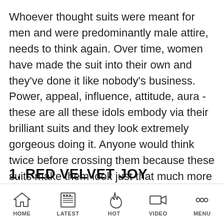Whoever thought suits were meant for men and were predominantly male attire, needs to think again. Over time, women have made the suit into their own and they've done it like nobody's business. Power, appeal, influence, attitude, aura - these are all these idols embody via their brilliant suits and they look extremely gorgeous doing it. Anyone would think twice before crossing them because these suits make them look just that much more intimidating because of how beautiful they look.
1. RED VELVET JOY
HOME   LATEST   HOT   VIDEO   MENU